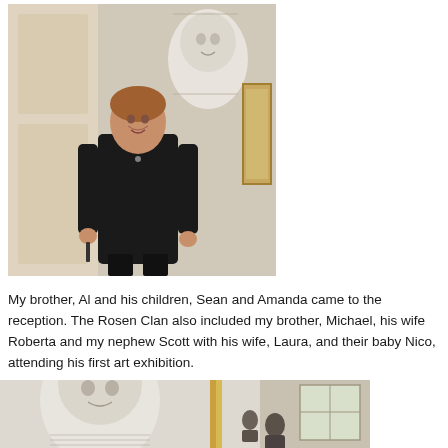[Figure (photo): Woman in black outfit standing in a white-paneled interior room with a large pencil portrait drawing visible on the wall behind her, and a framed artwork to the right.]
My brother, Al and his children, Sean and Amanda came to the reception. The Rosen Clan also included my brother, Michael, his wife Roberta and my nephew Scott with his wife, Laura, and their baby Nico, attending his first art exhibition.
[Figure (photo): Partial view of a large pencil portrait drawing of a child and people gathered in an interior space, likely an art gallery or reception hall.]